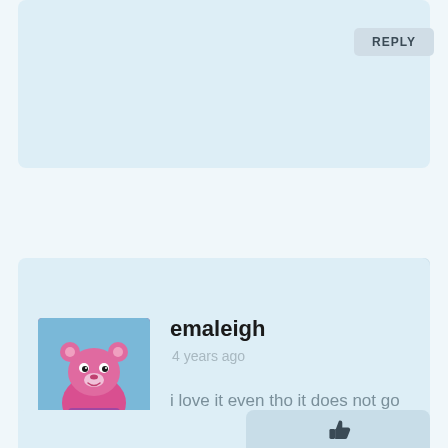[Figure (screenshot): Top comment card showing a REPLY button in the upper right area on a light blue background]
REPLY
[Figure (screenshot): Comment by user emaleigh with thumbs up (2 votes) and thumbs down icons, avatar of a pink bear Fortnite character]
emaleigh
4 years ago
i love it even tho it does not go well with anything
REPLY